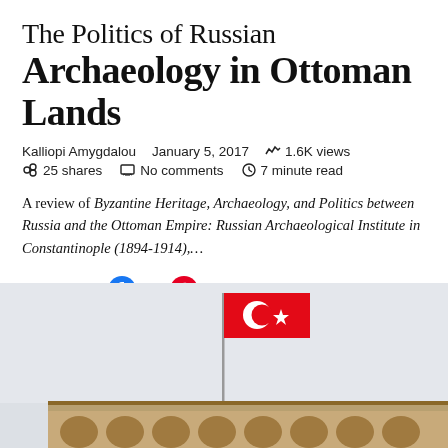The Politics of Russian Archaeology in Ottoman Lands
Kalliopi Amygdalou    January 5, 2017    1.6K views    25 shares    No comments    7 minute read
A review of Byzantine Heritage, Archaeology, and Politics between Russia and the Ottoman Empire: Russian Archaeological Institute in Constantinople (1894-1914),...
25 Shares
[Figure (photo): A Turkish flag on a flagpole above a decorative building facade with arched windows, against a grey sky background.]